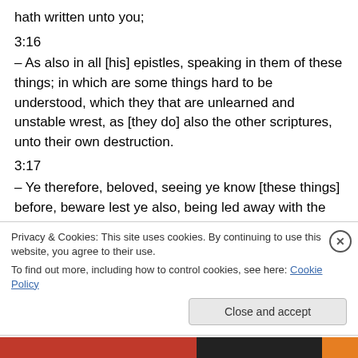hath written unto you;
3:16
– As also in all [his] epistles, speaking in them of these things; in which are some things hard to be understood, which they that are unlearned and unstable wrest, as [they do] also the other scriptures, unto their own destruction.
3:17
– Ye therefore, beloved, seeing ye know [these things] before, beware lest ye also, being led away with the error of the wicked, fall from your
Privacy & Cookies: This site uses cookies. By continuing to use this website, you agree to their use.
To find out more, including how to control cookies, see here: Cookie Policy
Close and accept